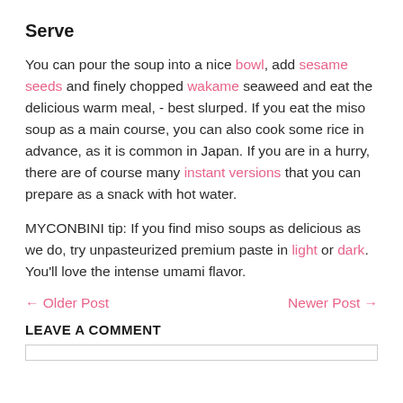Serve
You can pour the soup into a nice bowl, add sesame seeds and finely chopped wakame seaweed and eat the delicious warm meal, - best slurped. If you eat the miso soup as a main course, you can also cook some rice in advance, as it is common in Japan. If you are in a hurry, there are of course many instant versions that you can prepare as a snack with hot water.
MYCONBINI tip: If you find miso soups as delicious as we do, try unpasteurized premium paste in light or dark. You'll love the intense umami flavor.
← Older Post    Newer Post →
LEAVE A COMMENT